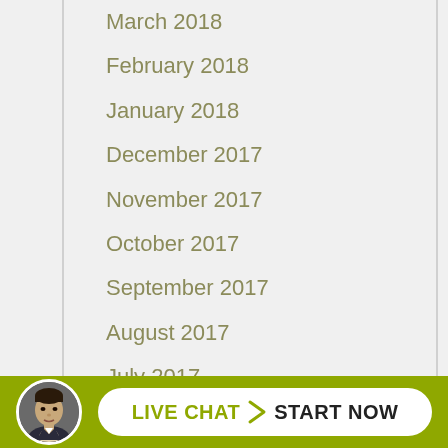March 2018
February 2018
January 2018
December 2017
November 2017
October 2017
September 2017
August 2017
July 2017
June 2017
May 2017
April 2017
March 2017
[Figure (other): Live chat widget with avatar photo of a man and a button reading LIVE CHAT START NOW on an olive/yellow-green background bar]